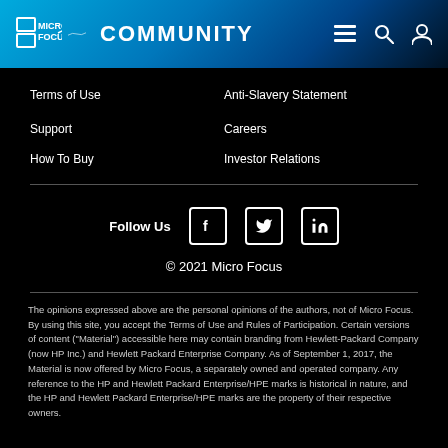Micro Focus Community
Terms of Use
Anti-Slavery Statement
Support
Careers
How To Buy
Investor Relations
Follow Us
© 2021 Micro Focus
The opinions expressed above are the personal opinions of the authors, not of Micro Focus. By using this site, you accept the Terms of Use and Rules of Participation. Certain versions of content ("Material") accessible here may contain branding from Hewlett-Packard Company (now HP Inc.) and Hewlett Packard Enterprise Company. As of September 1, 2017, the Material is now offered by Micro Focus, a separately owned and operated company. Any reference to the HP and Hewlett Packard Enterprise/HPE marks is historical in nature, and the HP and Hewlett Packard Enterprise/HPE marks are the property of their respective owners.